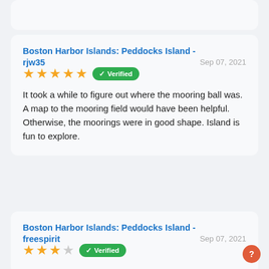Boston Harbor Islands: Peddocks Island - rjw35 | Sep 07, 2021 | ★★★★★ Verified | It took a while to figure out where the mooring ball was. A map to the mooring field would have been helpful. Otherwise, the moorings were in good shape. Island is fun to explore.
Boston Harbor Islands: Peddocks Island - freespirit | Sep 07, 2021 | ★★★☆☆ Verified